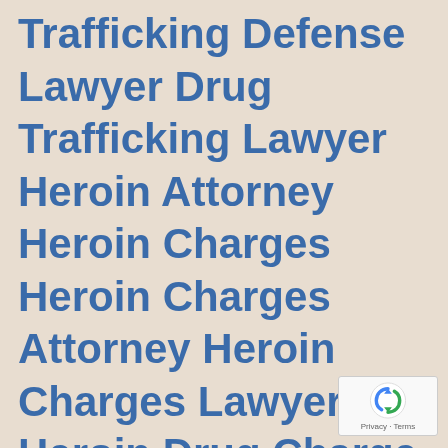Trafficking Defense Lawyer Drug Trafficking Lawyer Heroin Attorney Heroin Charges Heroin Charges Attorney Heroin Charges Lawyer Heroin Drug Charge Heroin Lawyer marijuana arrests marijuana arrests Marijuana Busts marijuana laws marijuana lawyer marijuana lawyer Nebraska Lawyer Oklahoma Drug Attorney Oklahoma Drug Attorney Oklahoma drug bust Oklahoma Drug Defense Oklahoma Drug lawyer Oklahoma Drug lawyer Oklahoma